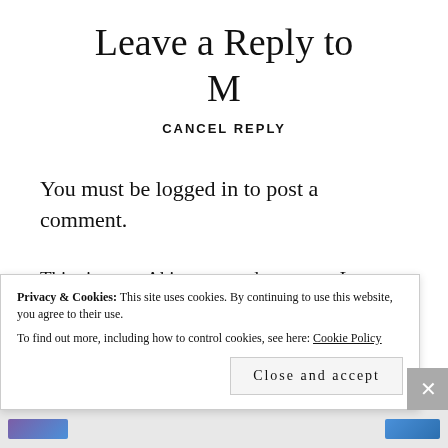Leave a Reply to M
CANCEL REPLY
You must be logged in to post a comment.
This site uses Akismet to reduce spam. Learn how your comment data is processed.
Privacy & Cookies: This site uses cookies. By continuing to use this website, you agree to their use. To find out more, including how to control cookies, see here: Cookie Policy
Close and accept